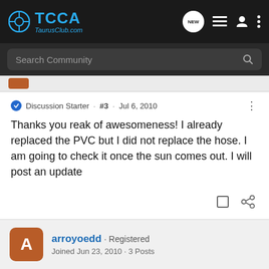[Figure (screenshot): TCCA TaurusClub.com navigation logo with steering wheel icon in blue]
Search Community
Discussion Starter · #3 · Jul 6, 2010
Thanks you reak of awesomeness! I already replaced the PVC but I did not replace the hose. I am going to check it once the sun comes out. I will post an update
arroyoedd · Registered
Joined Jun 23, 2010 · 3 Posts